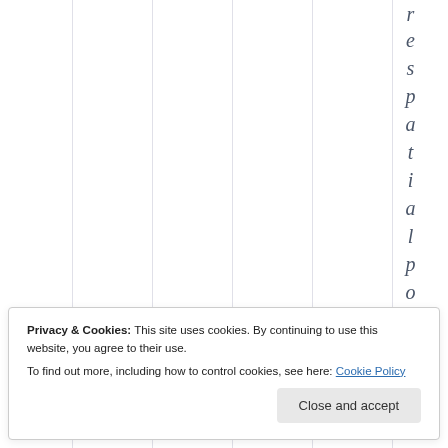r e s p a t i a l p o
Privacy & Cookies: This site uses cookies. By continuing to use this website, you agree to their use.
To find out more, including how to control cookies, see here: Cookie Policy
Close and accept